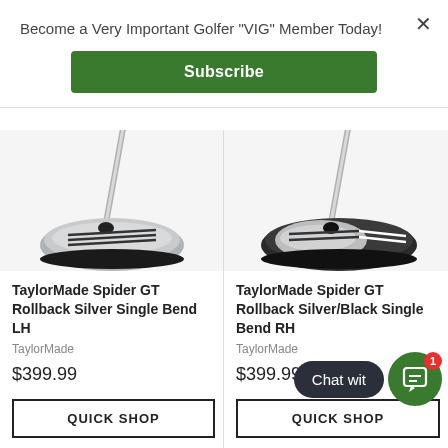Become a Very Important Golfer “VIG” Member Today!
Subscribe
[Figure (photo): TaylorMade Spider GT Rollback Silver Single Bend LH putter head, silver finish with black lines]
TaylorMade Spider GT Rollback Silver Single Bend LH
TaylorMade
$399.99
QUICK SHOP
[Figure (photo): TaylorMade Spider GT Rollback Silver/Black Single Bend RH putter head, silver and black finish]
TaylorMade Spider GT Rollback Silver/Black Single Bend RH
TaylorMade
$399.99
QUICK SHOP
Chat wit...